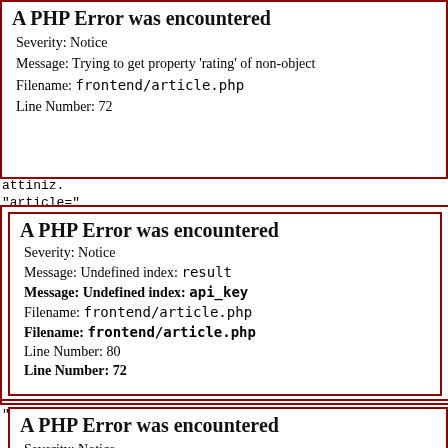A PHP Error was encountered
Severity: Notice
Message: Trying to get property 'rating' of non-object
Filename: frontend/article.php
Line Number: 72
attiniz.
"article="
A PHP Error was encountered
Severity: Notice
Message: Undefined index: result
A PHP Error was encountered
Severity: Notice
Message: Undefined index: api_key
Filename: frontend/article.php
Line Number: 80
Filename: frontend/article.php
Line Number: 72
" category= 5
A PHP Error was encountered
Severity: Notice
Message: Trying to get property 'summary' of non-object
Filename: frontend/article.php